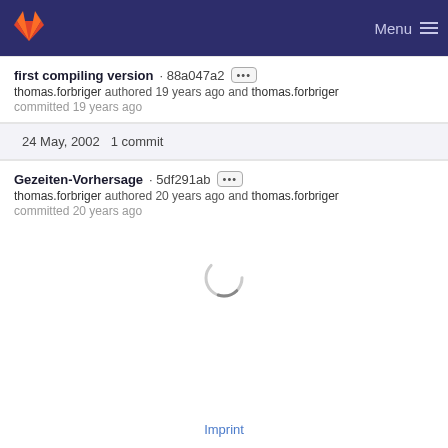GitLab — Menu
first compiling version · 88a047a2 ···
thomas.forbriger authored 19 years ago and thomas.forbriger committed 19 years ago
24 May, 2002 1 commit
Gezeiten-Vorhersage · 5df291ab ···
thomas.forbriger authored 20 years ago and thomas.forbriger committed 20 years ago
[Figure (other): Loading spinner circle]
Imprint